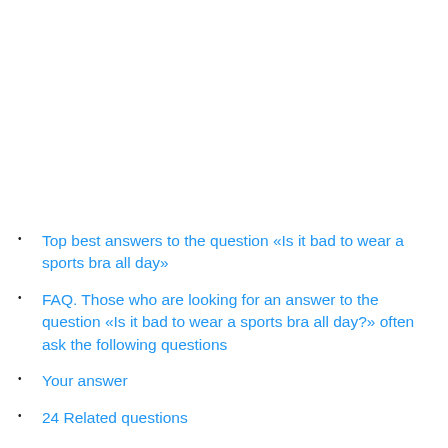Top best answers to the question «Is it bad to wear a sports bra all day»
FAQ. Those who are looking for an answer to the question «Is it bad to wear a sports bra all day?» often ask the following questions
Your answer
24 Related questions